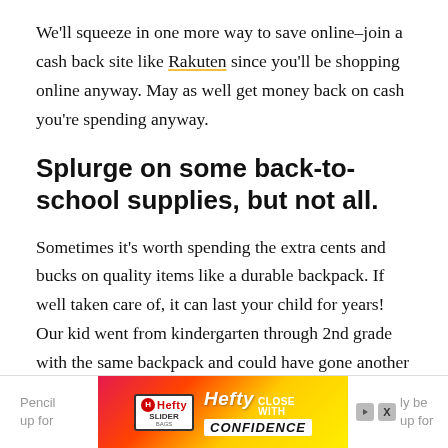We'll squeeze in one more way to save online–join a cash back site like Rakuten since you'll be shopping online anyway. May as well get money back on cash you're spending anyway.
Splurge on some back-to-school supplies, but not all.
Sometimes it's worth spending the extra cents and bucks on quality items like a durable backpack. If well taken care of, it can last your child for years! Our kid went from kindergarten through 2nd grade with the same backpack and could have gone another year with it, but he wants an upgrade for this year. Womp, womp.
[Figure (other): Advertisement banner for Hefty Slider bags with 'CLOSE WITH CONFIDENCE' tagline on a yellow/red background]